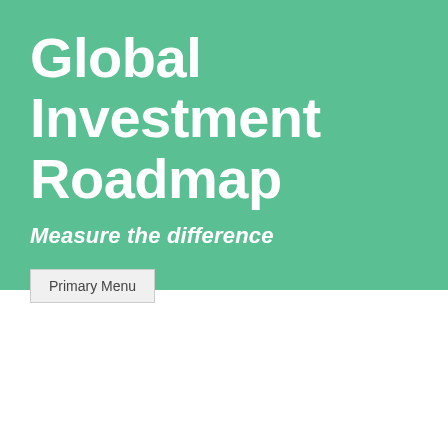Global Investment Roadmap
Measure the difference
Primary Menu
Category: Uncategorized